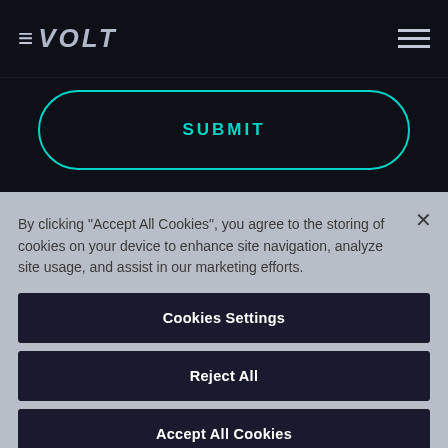EVOLT
SUBMIT
MEET US
By clicking "Accept All Cookies", you agree to the storing of cookies on your device to enhance site navigation, analyze site usage, and assist in our marketing efforts.
Cookies Settings
Reject All
Accept All Cookies